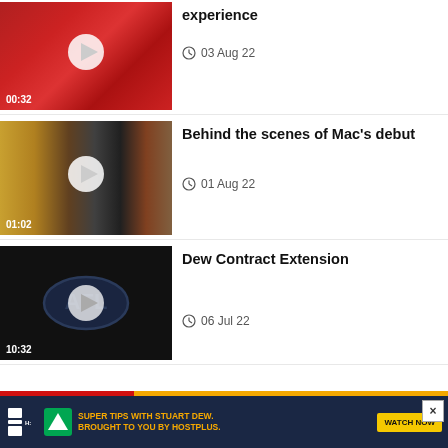[Figure (screenshot): Video thumbnail: players in red uniforms running, play button overlay, duration 00:32]
experience
03 Aug 22
[Figure (screenshot): Video thumbnail: behind the scenes locker room with players, play button overlay, duration 01:02]
Behind the scenes of Mac's debut
01 Aug 22
[Figure (screenshot): Video thumbnail: dark background with AFL logo, play button overlay, duration 10:32]
Dew Contract Extension
06 Jul 22
[Figure (infographic): Hostplus advertisement banner: SUPER TIPS WITH STUART DEW. BROUGHT TO YOU BY HOSTPLUS. WATCH NOW button]